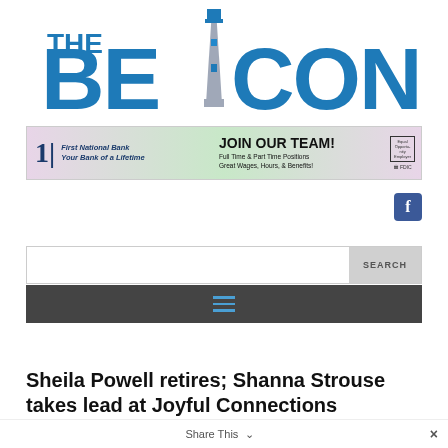[Figure (logo): The Beacon newspaper logo in blue with lighthouse graphic replacing the letter A]
[Figure (illustration): First National Bank banner ad: JOIN OUR TEAM! Full Time & Part Time Positions, Great Wages, Hours, & Benefits!]
[Figure (logo): Facebook icon button (blue rounded square with white f)]
[Figure (screenshot): Search bar with SEARCH button]
[Figure (infographic): Dark navigation bar with hamburger menu icon in blue]
Sheila Powell retires; Shanna Strouse takes lead at Joyful Connections
Share This